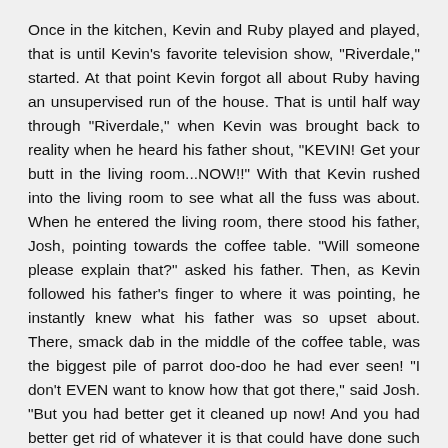Once in the kitchen, Kevin and Ruby played and played, that is until Kevin's favorite television show, "Riverdale," started. At that point Kevin forgot all about Ruby having an unsupervised run of the house. That is until half way through "Riverdale," when Kevin was brought back to reality when he heard his father shout, "KEVIN! Get your butt in the living room...NOW!!" With that Kevin rushed into the living room to see what all the fuss was about. When he entered the living room, there stood his father, Josh, pointing towards the coffee table. "Will someone please explain that?" asked his father. Then, as Kevin followed his father's finger to where it was pointing, he instantly knew what his father was so upset about. There, smack dab in the middle of the coffee table, was the biggest pile of parrot doo-doo he had ever seen! "I don't EVEN want to know how that got there," said Josh. "But you had better get it cleaned up now! And you had better get rid of whatever it is that could have done such a thing!"
Well, knowing his father as well as he did, Kevin knew there was no sense even asking his father if he could keep Ruby for